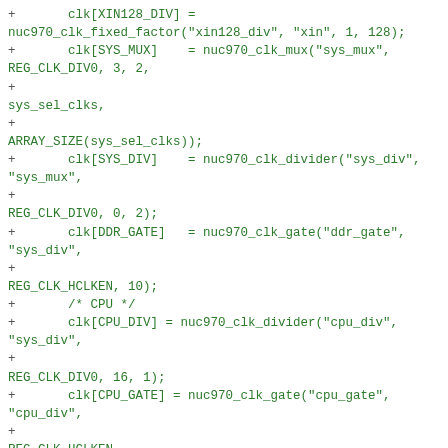+ clk[XIN128_DIV] = nuc970_clk_fixed_factor("xin128_div", "xin", 1, 128);
+       clk[SYS_MUX]    = nuc970_clk_mux("sys_mux", REG_CLK_DIV0, 3, 2,
+                                                              sys_sel_clks,
+
ARRAY_SIZE(sys_sel_clks));
+       clk[SYS_DIV]    = nuc970_clk_divider("sys_div", "sys_mux",
+
REG_CLK_DIV0, 0, 2);
+       clk[DDR_GATE]   = nuc970_clk_gate("ddr_gate", "sys_div",
+
REG_CLK_HCLKEN, 10);
+       /* CPU */
+       clk[CPU_DIV] = nuc970_clk_divider("cpu_div", "sys_div",
+
REG_CLK_DIV0, 16, 1);
+       clk[CPU_GATE] = nuc970_clk_gate("cpu_gate", "cpu_div",
+                                                            REG_CLK_HCLKEN,
0);
+       /*HCLK1 & PCLK*/
+       clk[HCLK1_DIV] =
nuc970_clk_fixed_factor("hclk1_div", "cpu_div", 1, 2);
+       clk[GDMA_GATE] =
nuc970_clk_gate("gdma_hclk_gate", "hclk1_div",
+